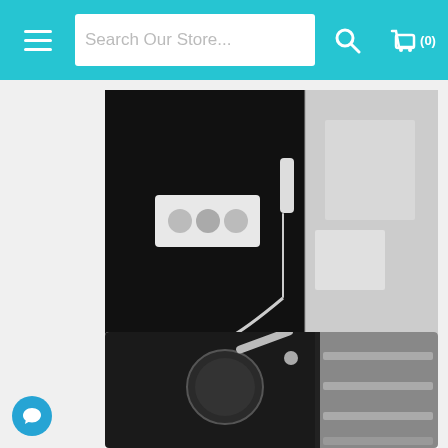Search Our Store...
[Figure (photo): Fontana Genoa Chrome LED Thermostatic shower system product photo showing wall-mounted controls and hand shower on black background with bathroom in background]
Fontana Genoa Chrome LED Thermostatic Recessed Ceiling Mount Rainfall Shower System With Hand
Retail Price: $1,164.00
Sale Price: $776.00
[Figure (photo): Second product photo showing a ceiling-mounted round rain showerhead with arm on dark background]